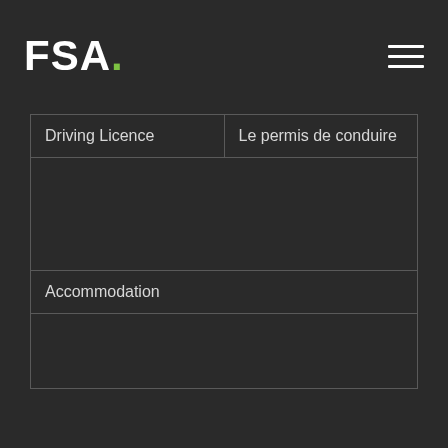FSA.
| Driving Licence | Le permis de conduire |
|  |  |
| Accommodation |  |
|  |  |
We use cookies on our website to give you the most relevant experience by remembering your preferences and repeat visits. By clicking "Accept All", you consent to the use of ALL the cookies. However, you may visit "Cookie Settings" to provide a controlled consent.
Cookie Settings
Accept All